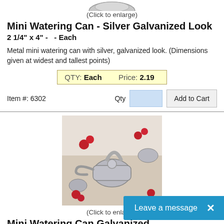[Figure (photo): Partial view of a silver galvanized mini watering can from above]
(Click to enlarge)
Mini Watering Can - Silver Galvanized Look
2 1/4" x 4" -   - Each
Metal mini watering can with silver, galvanized look. (Dimensions given at widest and tallest points)
| QTY: Each | Price: 2.19 |
Item #: 6302
[Figure (photo): Silver galvanized mini watering cans with red flowers on a table]
(Click to enlarge)
Mini Watering Can Galvanized
3 1/2" x 3 1/2" -   - Each
Tin Watering Can (Dimensions give